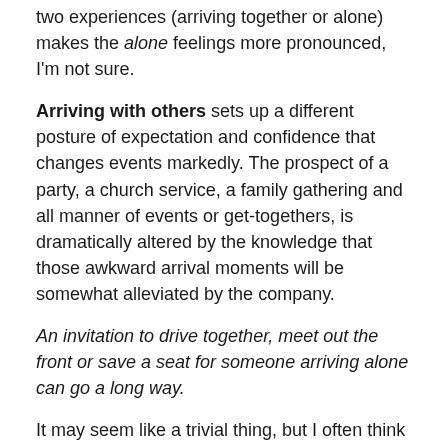two experiences (arriving together or alone) makes the alone feelings more pronounced, I'm not sure.
Arriving with others sets up a different posture of expectation and confidence that changes events markedly. The prospect of a party, a church service, a family gathering and all manner of events or get-togethers, is dramatically altered by the knowledge that those awkward arrival moments will be somewhat alleviated by the company.
An invitation to drive together, meet out the front or save a seat for someone arriving alone can go a long way.
It may seem like a trivial thing, but I often think that if I – in my extroverted, outgoing-ness – can feel this so acutely that I've elected to stay home or arrive extra late … I can't imagine how others might deal with these feelings.